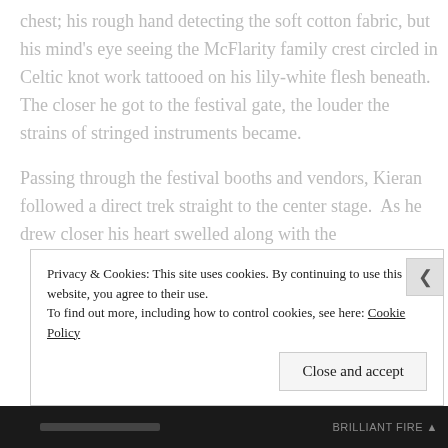chest; his rough hand detecting the soft cotton fabric, but his mind's eye seeing the McFlarity family crest circled in Celtic knot work tattooed on his lily-white flesh beneath.  The closer he got to the festival gate, the louder the strains of stringed instruments became.
Passing through the festival booths and vendors, Kieran followed a direct trek straight to the center stage.  As he drew closer his heart swelled along with the
Privacy & Cookies: This site uses cookies. By continuing to use this website, you agree to their use.
To find out more, including how to control cookies, see here: Cookie Policy
Close and accept